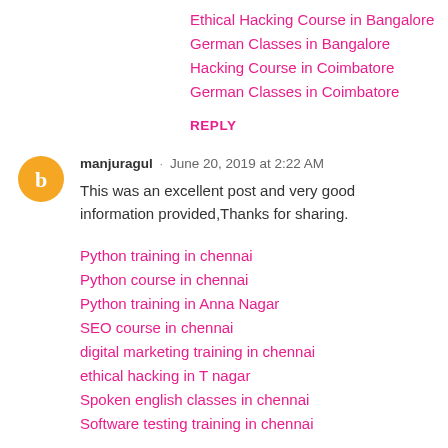Ethical Hacking Course in Bangalore
German Classes in Bangalore
Hacking Course in Coimbatore
German Classes in Coimbatore
REPLY
manjuragul · June 20, 2019 at 2:22 AM
This was an excellent post and very good information provided,Thanks for sharing.
Python training in chennai
Python course in chennai
Python training in Anna Nagar
SEO course in chennai
digital marketing training in chennai
ethical hacking in T nagar
Spoken english classes in chennai
Software testing training in chennai
REPLY